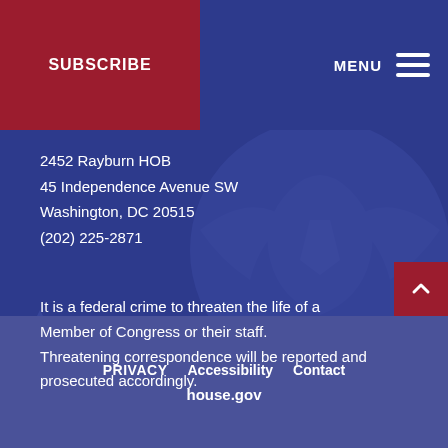SUBSCRIBE
MENU
2452 Rayburn HOB
45 Independence Avenue SW
Washington, DC 20515
(202) 225-2871
It is a federal crime to threaten the life of a Member of Congress or their staff. Threatening correspondence will be reported and prosecuted accordingly.
PRIVACY   Accessibility   Contact
house.gov